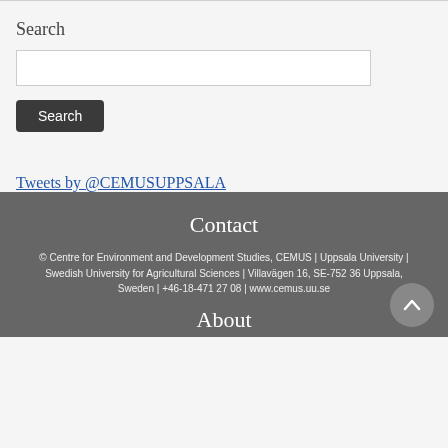Search
Tweets by @CEMUSUPPSALA
Contact
© Centre for Environment and Development Studies, CEMUS | Uppsala University | Swedish University for Agricultural Sciences | Villavägen 16, SE-752 36 Uppsala, Sweden | +46-18-471 27 08 | www.cemus.uu.se
About